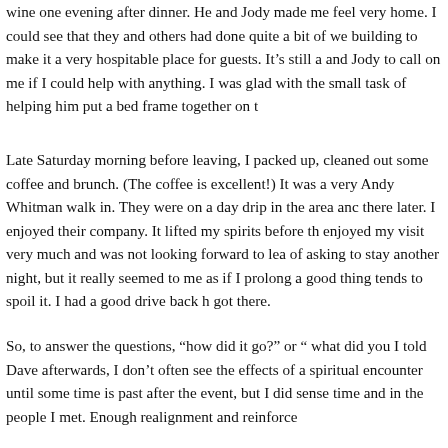wine one evening after dinner. He and Jody made me feel very home. I could see that they and others had done quite a bit of wo building to make it a very hospitable place for guests. It's still a and Jody to call on me if I could help with anything. I was glad with the small task of helping him put a bed frame together on t
Late Saturday morning before leaving, I packed up, cleaned out some coffee and brunch. (The coffee is excellent!) It was a very Andy Whitman walk in. They were on a day drip in the area ano there later. I enjoyed their company. It lifted my spirits before th enjoyed my visit very much and was not looking forward to lea of asking to stay another night, but it really seemed to me as if I prolong a good thing tends to spoil it. I had a good drive back h got there.
So, to answer the questions, “how did it go?” or ” what did you I told Dave afterwards, I don’t often see the effects of a spiritual encounter until some time is past after the event, but I did sense time and in the people I met. Enough realignment and reinforce